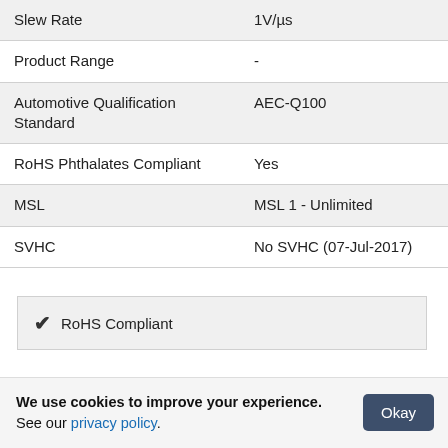| Slew Rate | 1V/µs |
| Product Range | - |
| Automotive Qualification Standard | AEC-Q100 |
| RoHS Phthalates Compliant | Yes |
| MSL | MSL 1 - Unlimited |
| SVHC | No SVHC (07-Jul-2017) |
✔ RoHS Compliant
We use cookies to improve your experience. See our privacy policy.